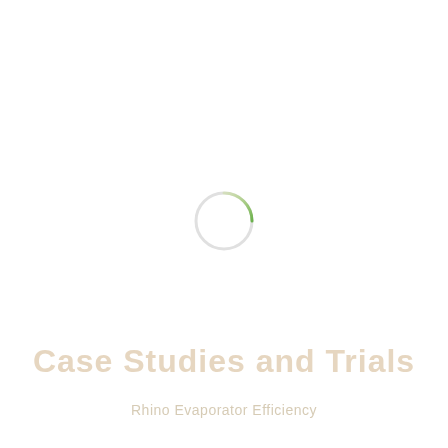[Figure (other): A loading spinner circle, mostly white/light gray with a small green gradient arc at the bottom-right, centered in the upper portion of the page.]
Case Studies and Trials
Rhino Evaporator Efficiency